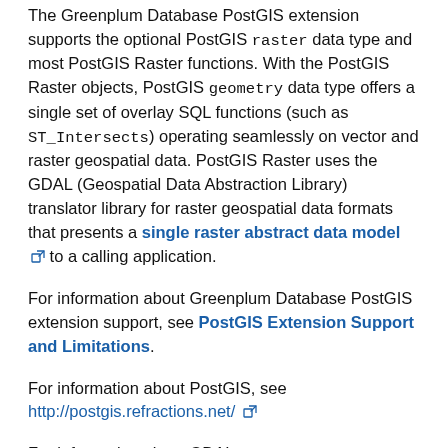The Greenplum Database PostGIS extension supports the optional PostGIS raster data type and most PostGIS Raster functions. With the PostGIS Raster objects, PostGIS geometry data type offers a single set of overlay SQL functions (such as ST_Intersects) operating seamlessly on vector and raster geospatial data. PostGIS Raster uses the GDAL (Geospatial Data Abstraction Library) translator library for raster geospatial data formats that presents a single raster abstract data model [link icon] to a calling application.
For information about Greenplum Database PostGIS extension support, see PostGIS Extension Support and Limitations.
For information about PostGIS, see http://postgis.refractions.net/ [link icon]
For information about GDAL, see http://www.gdal.org [link icon].